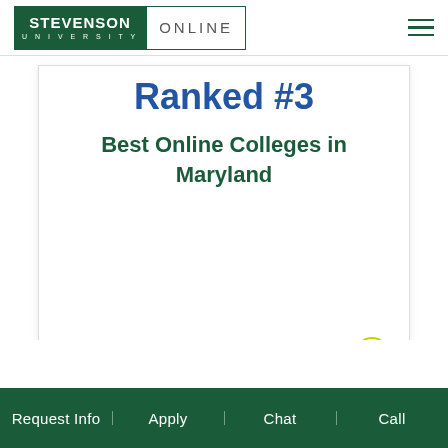[Figure (logo): Stevenson University Online logo — green box with STEVENSON UNIVERSITY text, white box with ONLINE text]
Ranked #3
Best Online Colleges in Maryland
Request Info | Apply | Chat | Call